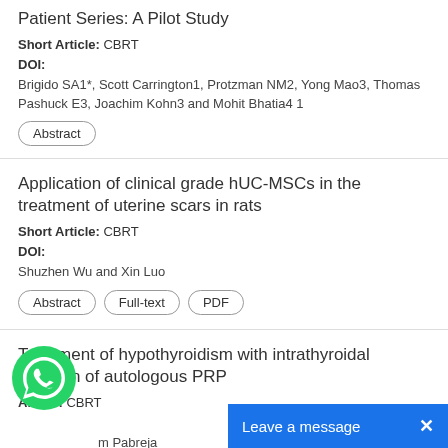Patient Series: A Pilot Study
Short Article: CBRT
DOI:
Brigido SA1*, Scott Carrington1, Protzman NM2, Yong Mao3, Thomas Pashuck E3, Joachim Kohn3 and Mohit Bhatia4 1
Abstract
Application of clinical grade hUC-MSCs in the treatment of uterine scars in rats
Short Article: CBRT
DOI:
Shuzhen Wu and Xin Luo
Abstract
Full-text
PDF
Treatment of hypothyroidism with intrathyroidal injection of autologous PRP
Article: CBRT
...m Pabreja
Abstract
Full-text
PDF